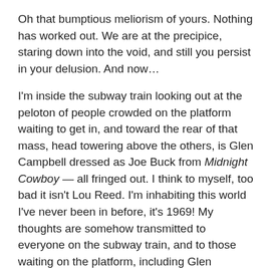Oh that bumptious meliorism of yours. Nothing has worked out. We are at the precipice, staring down into the void, and still you persist in your delusion. And now…
I'm inside the subway train looking out at the peloton of people crowded on the platform waiting to get in, and toward the rear of that mass, head towering above the others, is Glen Campbell dressed as Joe Buck from Midnight Cowboy — all fringed out. I think to myself, too bad it isn't Lou Reed. I'm inhabiting this world I've never been in before, it's 1969! My thoughts are somehow transmitted to everyone on the subway train, and to those waiting on the platform, including Glen Campbell (as Joe Buck) still waiting to get on the train. As the doors open and the mass of people move in and out of the subway car, I dematerialize and am now hovering somewhere